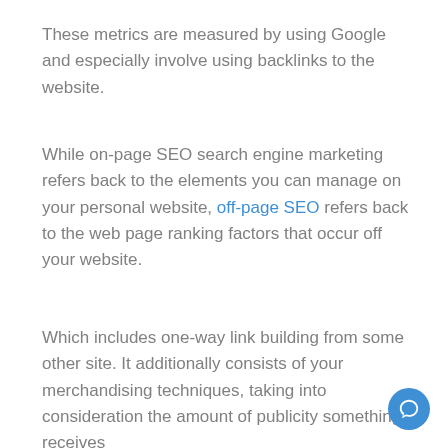These metrics are measured by using Google and especially involve using backlinks to the website.
While on-page SEO search engine marketing refers back to the elements you can manage on your personal website, off-page SEO refers back to the web page ranking factors that occur off your website.
Which includes one-way link building from some other site. It additionally consists of your merchandising techniques, taking into consideration the amount of publicity something receives